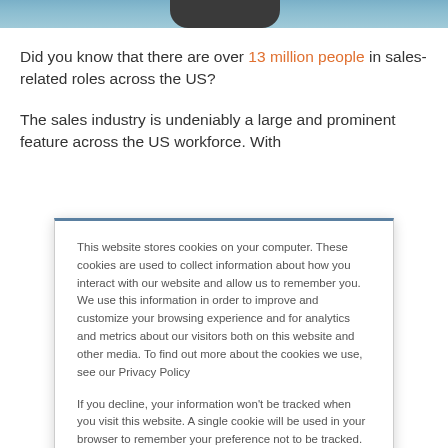[Figure (photo): Top strip showing a partial photo of a person in dark clothing against a blue/teal background]
Did you know that there are over 13 million people in sales-related roles across the US?
The sales industry is undeniably a large and prominent feature across the US workforce. With
This website stores cookies on your computer. These cookies are used to collect information about how you interact with our website and allow us to remember you. We use this information in order to improve and customize your browsing experience and for analytics and metrics about our visitors both on this website and other media. To find out more about the cookies we use, see our Privacy Policy
If you decline, your information won't be tracked when you visit this website. A single cookie will be used in your browser to remember your preference not to be tracked.